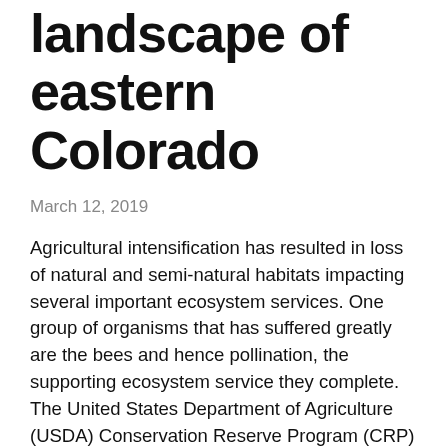landscape of eastern Colorado
March 12, 2019
Agricultural intensification has resulted in loss of natural and semi-natural habitats impacting several important ecosystem services. One group of organisms that has suffered greatly are the bees and hence pollination, the supporting ecosystem service they complete. The United States Department of Agriculture (USDA) Conservation Reserve Program (CRP) has implemented conservation practices designed to improve habitat for pollinators in agroecosystems by paying to recover environmentally sensitive agricultural land from production, and restoring them by planting